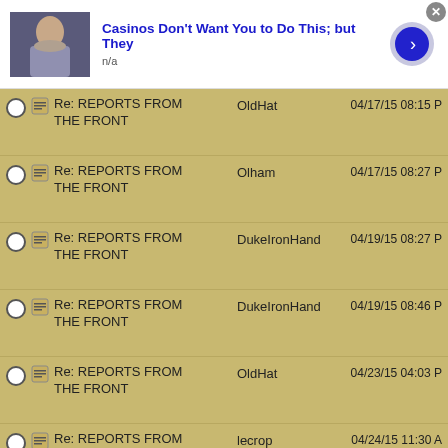[Figure (screenshot): Top advertisement bar: thumbnail image of person, title 'Casinos Don't Want You to Do This; but They', subtitle 'n/a', blue arrow button, close X button]
Re: REPORTS FROM THE FRONT | OldHat | 04/17/15 08:15 PM
Re: REPORTS FROM THE FRONT | Olham | 04/17/15 08:27 PM
Re: REPORTS FROM THE FRONT | DukeIronHand | 04/19/15 08:27 PM
Re: REPORTS FROM THE FRONT | DukeIronHand | 04/19/15 08:46 PM
Re: REPORTS FROM THE FRONT | OldHat | 04/23/15 04:03 PM
Re: REPORTS FROM THE FRONT | lecrop | 04/24/15 11:30 AM
Re: REPORTS FROM (partial) | OldHat | (partial date)
[Figure (screenshot): Bottom advertisement bar: thumbnail image of person, title 'Casinos Don't Want You to Do This; but They', subtitle 'n/a', blue arrow button, close X button]